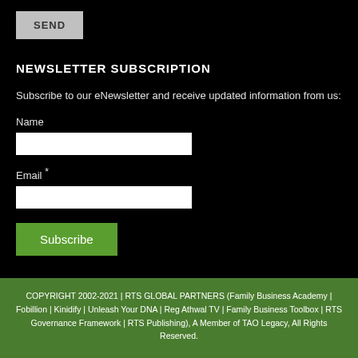[Figure (other): SEND button - a grey rectangular button with bold uppercase SEND label]
NEWSLETTER SUBSCRIPTION
Subscribe to our eNewsletter and receive updated information from us:
Name
[Figure (other): Name text input field, white rectangle]
Email *
[Figure (other): Email text input field, white rectangle]
[Figure (other): Subscribe button - green rectangular button with white Subscribe label]
COPYRIGHT 2002-2021 | RTS GLOBAL PARTNERS (Family Business Academy | Fobillion | Kinidify | Unleash Your DNA | Reg Athwal TV | Family Business Toolbox | RTS Governance Framework | RTS Publishing), A Member of TAO Legacy, All Rights Reserved.